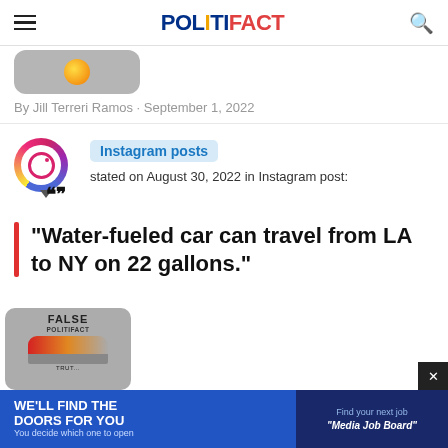POLITIFACT
[Figure (screenshot): Cropped top portion of a rounded gray card with an orange circle icon]
By Jill Terreri Ramos · September 1, 2022
[Figure (logo): Instagram logo icon with speech bubble and quotation marks]
Instagram posts stated on August 30, 2022 in Instagram post:
"Water-fueled car can travel from LA to NY on 22 gallons."
[Figure (screenshot): Bottom portion showing a PolitiFact Truth-O-Meter card labeled FALSE, and an advertisement banner reading WE'LL FIND THE DOORS FOR YOU with Media Job Board]
WE'LL FIND THE DOORS FOR YOU You decide which one to open
Find your next job Media Job Board